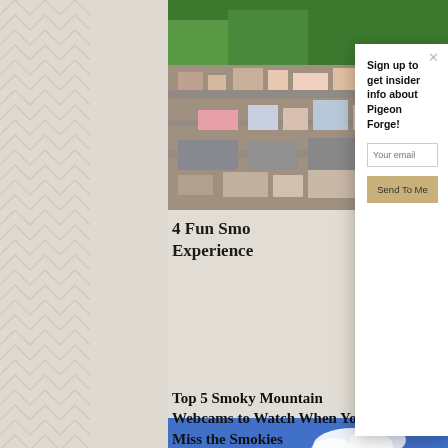[Figure (photo): Aerial view of Pigeon Forge / Smoky Mountain area showing town with forested hills]
4 Fun Smo… Experiences
[Figure (infographic): Modal popup with title 'Sign up to get insider info about Pigeon Forge!', email input field, and 'Send To Me' button with close X]
[Figure (photo): Snow-covered Smoky Mountain peaks with blue sky and white clouds]
Top 5 Smoky Mountain Webcams to Watch When You Miss the Smokies